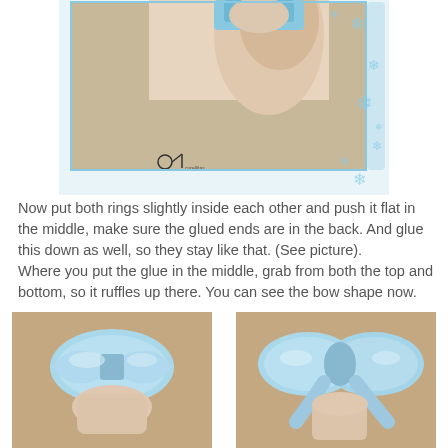[Figure (photo): Close-up photo of a hand holding a light blue satin ribbon ring, with snowflake decorative border elements. A logo/watermark is visible at the bottom left of the image.]
Now put both rings slightly inside each other and push it flat in the middle, make sure the glued ends are in the back. And glue this down as well, so they stay like that. (See picture).
Where you put the glue in the middle, grab from both the top and bottom, so it ruffles up there. You can see the bow shape now.
[Figure (photo): Photo of a hand holding a light blue satin ribbon bow, showing two rings pinched together in the middle to form a bow shape.]
[Figure (photo): Photo of a completed light blue satin ribbon bow shape, held by a hand, showing the ruffled middle and bow loops.]